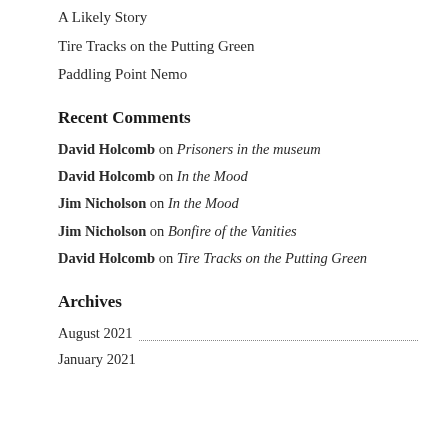A Likely Story
Tire Tracks on the Putting Green
Paddling Point Nemo
Recent Comments
David Holcomb on Prisoners in the museum
David Holcomb on In the Mood
Jim Nicholson on In the Mood
Jim Nicholson on Bonfire of the Vanities
David Holcomb on Tire Tracks on the Putting Green
Archives
August 2021
January 2021